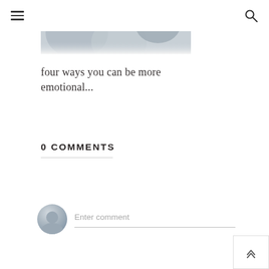≡  🔍
[Figure (photo): Partial view of a blurred photo showing soft grey and red circular bokeh shapes on a light background, cropped at the top of the page.]
four ways you can be more emotional...
0 COMMENTS
Enter comment